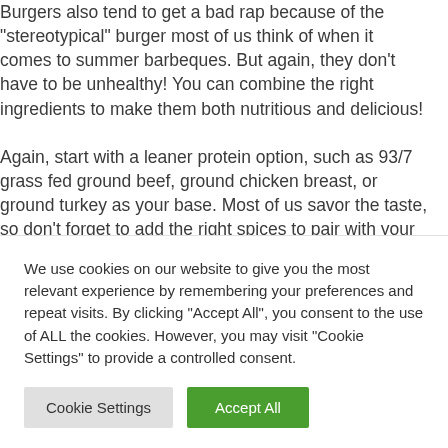Burgers also tend to get a bad rap because of the "stereotypical" burger most of us think of when it comes to summer barbeques. But again, they don't have to be unhealthy! You can combine the right ingredients to make them both nutritious and delicious!
Again, start with a leaner protein option, such as 93/7 grass fed ground beef, ground chicken breast, or ground turkey as your base. Most of us savor the taste, so don't forget to add the right spices to pair with your
We use cookies on our website to give you the most relevant experience by remembering your preferences and repeat visits. By clicking "Accept All", you consent to the use of ALL the cookies. However, you may visit "Cookie Settings" to provide a controlled consent.